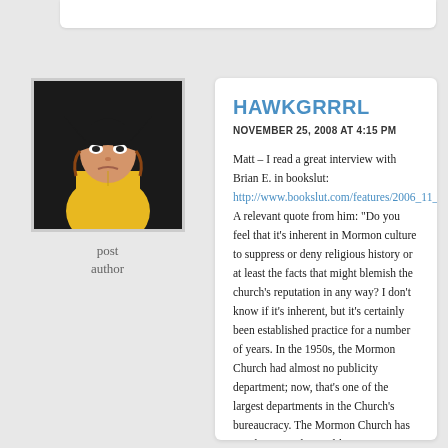[Figure (illustration): Avatar image of a female superhero character wearing a yellow costume and black mask, appearing to be a cartoon/animated style illustration]
post author
HAWKGRRRL
NOVEMBER 25, 2008 AT 4:15 PM
Matt – I read a great interview with Brian E. in bookslut: http://www.bookslut.com/features/2006_11_010188.php. A relevant quote from him: "Do you feel that it's inherent in Mormon culture to suppress or deny religious history or at least the facts that might blemish the church's reputation in any way? I don't know if it's inherent, but it's certainly been established practice for a number of years. In the 1950s, the Mormon Church had almost no publicity department; now, that's one of the largest departments in the Church's bureaucracy. The Mormon Church has acted more and more like a corporation as time has gone on, and has become